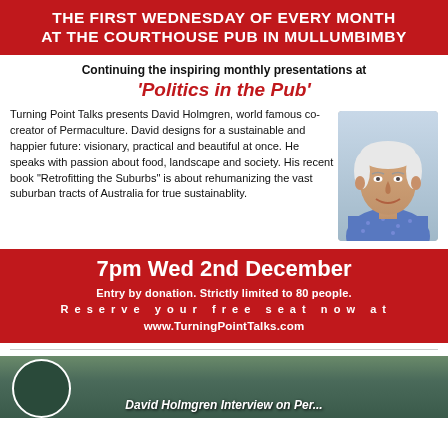THE FIRST WEDNESDAY OF EVERY MONTH AT THE COURTHOUSE PUB IN MULLUMBIMBY
Continuing the inspiring monthly presentations at 'Politics in the Pub'
Turning Point Talks presents David Holmgren, world famous co-creator of Permaculture. David designs for a sustainable and happier future: visionary, practical and beautiful at once. He speaks with passion about food, landscape and society. His recent book "Retrofitting the Suburbs" is about rehumanizing the vast suburban tracts of Australia for true sustainablity.
[Figure (photo): Portrait photo of David Holmgren, an older man with white hair smiling, wearing a patterned shirt]
7pm Wed 2nd December
Entry by donation. Strictly limited to 80 people.
Reserve your free seat now at
www.TurningPointTalks.com
[Figure (photo): Partial view of a nature/garden scene with a person visible, captioned 'David Holmgren Interview on Per...']
David Holmgren Interview on Per...